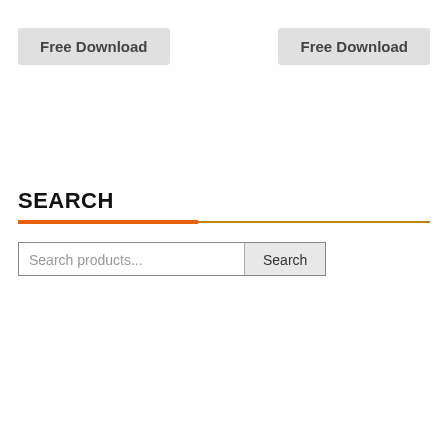Free Download
Free Download
SEARCH
Search products...
Search